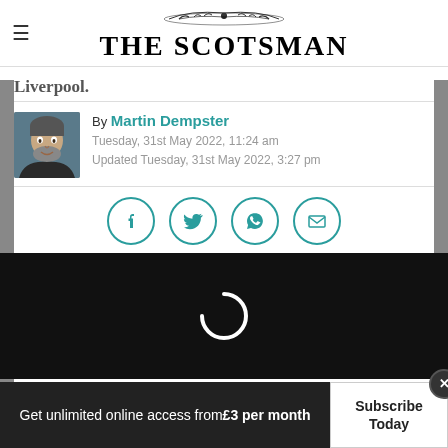[Figure (logo): The Scotsman newspaper logo with decorative ornament above the text]
Liverpool.
By Martin Dempster
Tuesday, 31st May 2022, 11:24 am
Updated Tuesday, 31st May 2022, 3:27 pm
[Figure (photo): Author photo of Martin Dempster]
[Figure (other): Social sharing icons: Facebook, Twitter, WhatsApp, Email]
[Figure (other): Video player area, dark background with loading spinner]
Get unlimited online access from £3 per month
Subscribe Today